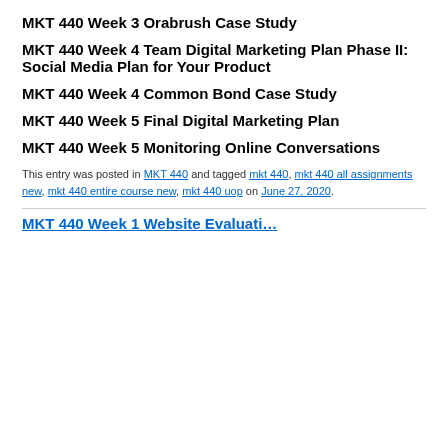MKT 440 Week 3 Orabrush Case Study
MKT 440 Week 4 Team Digital Marketing Plan Phase II: Social Media Plan for Your Product
MKT 440 Week 4 Common Bond Case Study
MKT 440 Week 5 Final Digital Marketing Plan
MKT 440 Week 5 Monitoring Online Conversations
This entry was posted in MKT 440 and tagged mkt 440, mkt 440 all assignments new, mkt 440 entire course new, mkt 440 uop on June 27, 2020.
MKT 440 Week 1 Website Evaluation